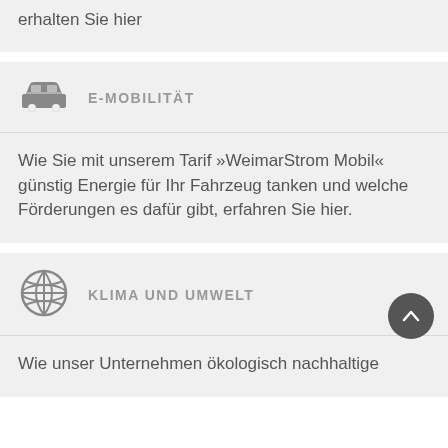erhalten Sie hier
E-MOBILITÄT
Wie Sie mit unserem Tarif »WeimarStrom Mobil« günstig Energie für Ihr Fahrzeug tanken und welche Förderungen es dafür gibt, erfahren Sie hier.
KLIMA UND UMWELT
Wie unser Unternehmen ökologisch nachhaltige